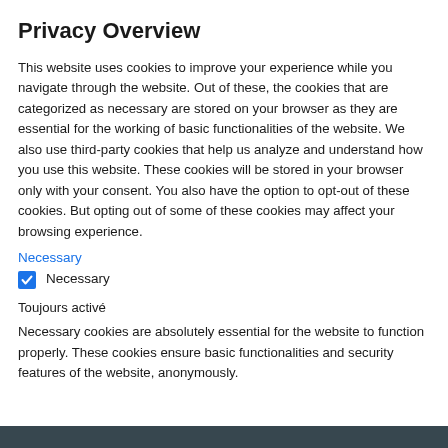Privacy Overview
This website uses cookies to improve your experience while you navigate through the website. Out of these, the cookies that are categorized as necessary are stored on your browser as they are essential for the working of basic functionalities of the website. We also use third-party cookies that help us analyze and understand how you use this website. These cookies will be stored in your browser only with your consent. You also have the option to opt-out of these cookies. But opting out of some of these cookies may affect your browsing experience.
Necessary
☑ Necessary
Toujours activé
Necessary cookies are absolutely essential for the website to function properly. These cookies ensure basic functionalities and security features of the website, anonymously.